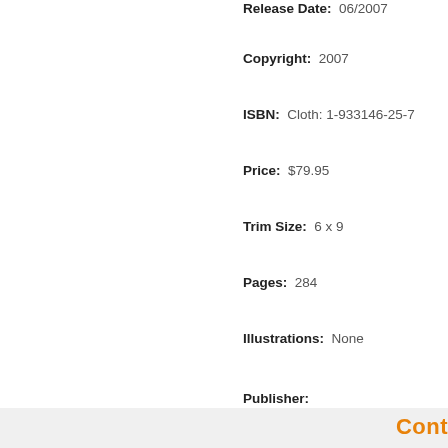Release Date: 06/2007
Copyright: 2007
ISBN: Cloth: 1-933146-25-7
Price: $79.95
Trim Size: 6 x 9
Pages: 284
Illustrations: None
Publisher:
ACADEMICA PRESS
1727 Massachusetts Avenue, NW, Suite 500
Washington, DC 20036
Literature and Literary Criticism
Cont...